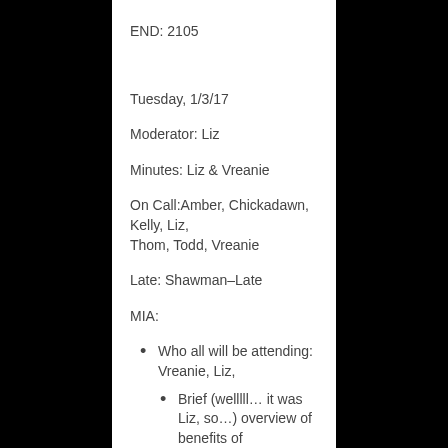END: 2105
Tuesday, 1/3/17
Moderator: Liz
Minutes: Liz & Vreanie
On Call:Amber, Chickadawn, Kelly, Liz, Thom, Todd, Vreanie
Late: Shawman–Late
MIA:
Who all will be attending: Vreanie, Liz,
Brief (welllll… it was Liz, so…) overview of benefits of